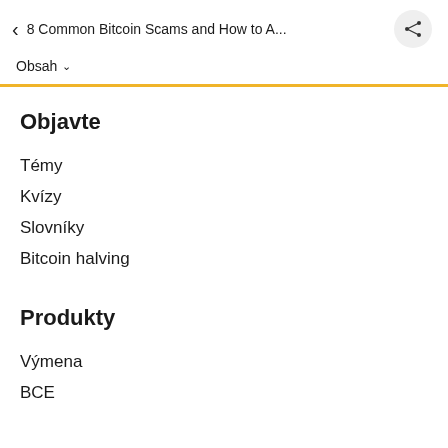8 Common Bitcoin Scams and How to A...
Obsah
Objavte
Témy
Kvízy
Slovníky
Bitcoin halving
Produkty
Výmena
BCE